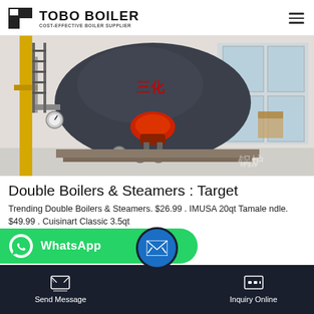TOBO BOILER — COST-EFFECTIVE BOILER SUPPLIER
[Figure (photo): Industrial boiler — large dark spherical/cylindrical boiler vessel with red burner, yellow gas pipe on the left, installed in a factory workshop interior.]
Double Boilers & Steamers : Target
Trending Double Boilers & Steamers. $26.99 . IMUSA 20qt Tamale [Steamer with Handle]. $49.99 . Cuisinart Classic 3.5qt [Steam with Halved Handle] a 2[...] mak[er]